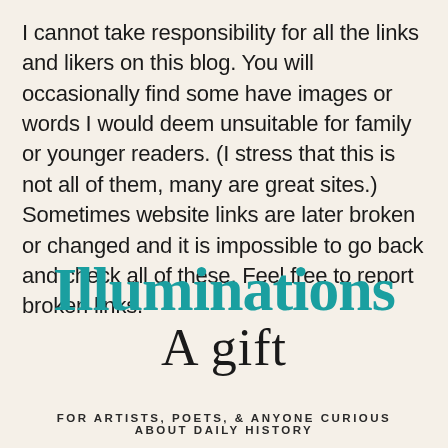I cannot take responsibility for all the links and likers on this blog. You will occasionally find some have images or words I would deem unsuitable for family or younger readers. (I stress that this is not all of them, many are great sites.) Sometimes website links are later broken or changed and it is impossible to go back and check all of these. Feel free to report broken links.
Illuminations
A gift
FOR ARTISTS, POETS, & ANYONE CURIOUS ABOUT DAILY HISTORY